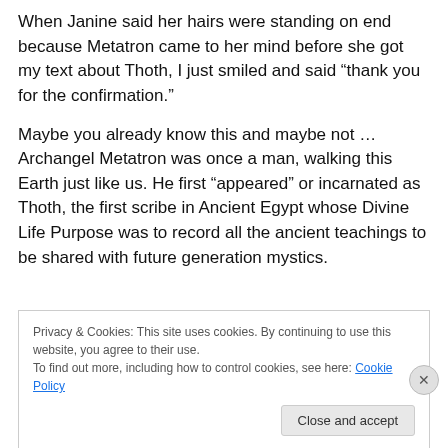When Janine said her hairs were standing on end because Metatron came to her mind before she got my text about Thoth, I just smiled and said “thank you for the confirmation.”
Maybe you already know this and maybe not … Archangel Metatron was once a man, walking this Earth just like us. He first “appeared” or incarnated as Thoth, the first scribe in Ancient Egypt whose Divine Life Purpose was to record all the ancient teachings to be shared with future generation mystics.
Privacy & Cookies: This site uses cookies. By continuing to use this website, you agree to their use.
To find out more, including how to control cookies, see here: Cookie Policy